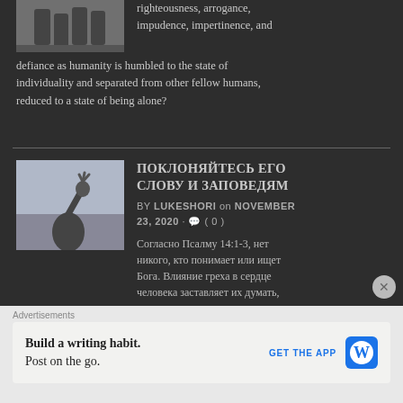[Figure (photo): Partial image at top showing legs/feet, cropped]
righteousness, arrogance, impudence, impertinence, and defiance as humanity is humbled to the state of individuality and separated from other fellow humans, reduced to a state of being alone?
ПОКЛОНЯЙТЕСЬ ЕГО СЛОВУ И ЗАПОВЕДЯМ
BY LUKESHORI on NOVEMBER 23, 2020 • ( 0 )
[Figure (photo): Black and white photo of a person raising their fist or hand upward against a sky background]
Согласно  Псалму 14:1-3, нет никого, кто понимает или ищет Бога. Влияние греха в сердце человека заставляет их думать, что внутри них все еще есть что-то, склонное искать Господа, но болезненная истина заключается в том, что наши сердца искажаются только в поисках наслаждения для нашей плоти. Это верно до двух
Advertisements
Build a writing habit. Post on the go.